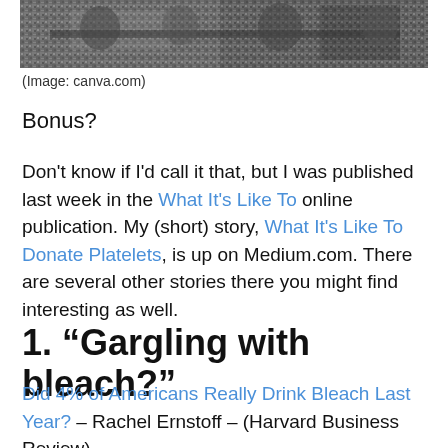[Figure (photo): Black and white photograph cropped at top, showing people sitting on a bench outdoors]
(Image: canva.com)
Bonus?
Don't know if I'd call it that, but I was published last week in the What It's Like To online publication. My (short) story, What It's Like To Donate Platelets, is up on Medium.com. There are several other stories there you might find interesting as well.
1.  “Gargling with bleach?”
Did 4% of Americans Really Drink Bleach Last Year? – Rachel Ernstoff – (Harvard Business Review)